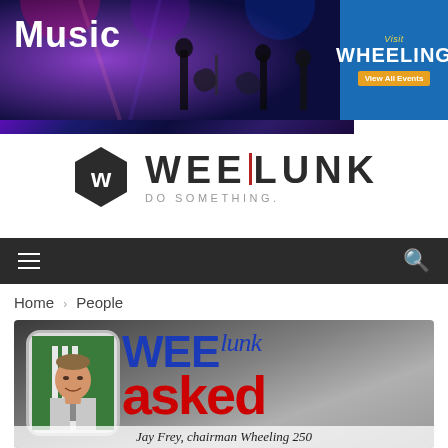[Figure (photo): Music banner with concert crowd and musicians silhouettes in purple/blue lighting, with 'Music' text overlay and 'Visit Wheeling – View All Events' advertisement box]
[Figure (logo): Weelunk logo: dark hexagon with 'W', large 'WEELUNK' text with vertical bar between L and U, tagline 'DO SOMETHING.']
[Figure (screenshot): Dark navigation bar with hamburger menu icon on left and search icon on right]
Home > People
[Figure (photo): Article header image with gray gradient background, rounded photo frame containing portrait of Jay Frey, overlaid with 'WEElunk asked' text in blue and red, caption reads 'Jay Frey, chairman Wheeling 250']
Jay Frey, chairman Wheeling 250